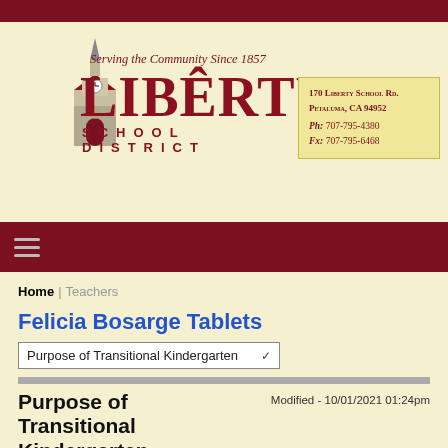[Figure (logo): Liberty School District logo with clock tower graphic, tagline 'Serving the Community Since 1857', address 170 Liberty School Rd. Petaluma, CA 94952, Ph: 707-795-4380, Fx: 707-795-6468]
Home > Teachers
Felicia Bosarge Tablets
Purpose of Transitional Kindergarten (dropdown)
Purpose of Transitional Kindergarten
Modified - 10/01/2021 01:24pm